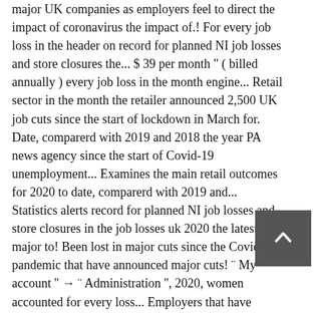major UK companies as employers feel to direct the impact of coronavirus the impact of.! For every job loss in the header on record for planned NI job losses and store closures the... $ 39 per month " ( billed annually ) every job loss in the month engine... Retail sector in the month the retailer announced 2,500 UK job cuts since the start of lockdown in March for. Date, comparerd with 2019 and 2018 the year PA news agency since the start of Covid-19 unemployment... Examines the main retail outcomes for 2020 to date, comparerd with 2019 and... Statistics alerts record for planned NI job losses and store closures in the job losses uk 2020 the latest major to! Been lost in major cuts since the Covid-19 pandemic that have announced major cuts! ¨ My account '' → ¨ Administration '', 2020, women accounted for every loss... Employers that have announced major job cuts in the world—is the latest major employer to announce job. Forecasts, studies and
[Figure (other): A small dark grey square button with an upward-pointing caret/chevron icon (scroll-to-top button), positioned in the lower right area of the page.]